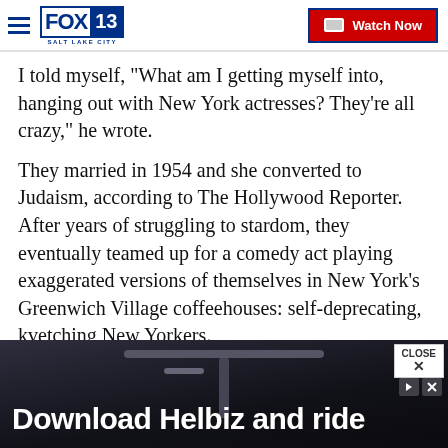FOX 13 SALT LAKE CITY — Watch Now
I told myself, "What am I getting myself into, hanging out with New York actresses? They're all crazy," he wrote.
They married in 1954 and she converted to Judaism, according to The Hollywood Reporter. After years of struggling to stardom, they eventually teamed up for a comedy act playing exaggerated versions of themselves in New York's Greenwich Village coffeehouses: self-deprecating, kvetching New Yorkers.
[Figure (screenshot): Advertisement banner showing 'Download Helbiz and ride' text over a dark image of a scooter handlebar, with a CLOSE button in the top right corner]